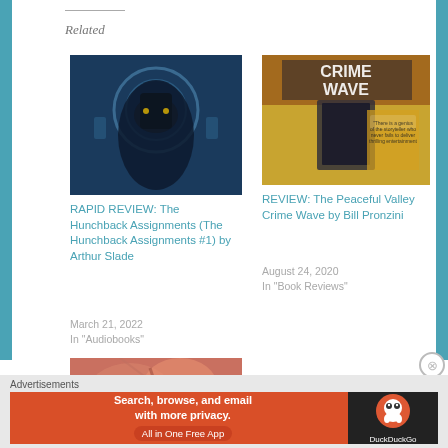Related
[Figure (photo): Book cover: The Hunchback Assignments – dark figure in blue tones]
RAPID REVIEW: The Hunchback Assignments (The Hunchback Assignments #1) by Arthur Slade
March 21, 2022
In "Audiobooks"
[Figure (photo): Book cover: The Peaceful Valley Crime Wave – crime novel cover with yellow background]
REVIEW: The Peaceful Valley Crime Wave by Bill Pronzini
August 24, 2020
In "Book Reviews"
[Figure (photo): Partial book cover image – reddish/floral tones, partially visible]
Advertisements
[Figure (screenshot): DuckDuckGo advertisement: Search, browse, and email with more privacy. All in One Free App]